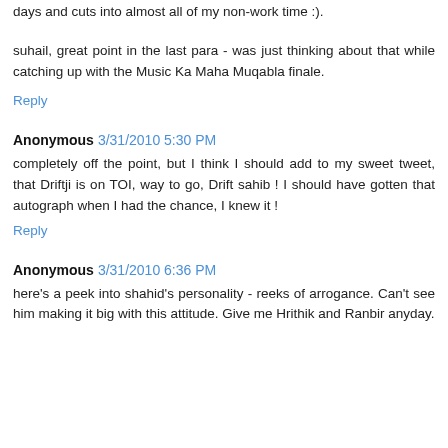days and cuts into almost all of my non-work time :).
suhail, great point in the last para - was just thinking about that while catching up with the Music Ka Maha Muqabla finale.
Reply
Anonymous 3/31/2010 5:30 PM
completely off the point, but I think I should add to my sweet tweet, that Driftji is on TOI, way to go, Drift sahib ! I should have gotten that autograph when I had the chance, I knew it !
Reply
Anonymous 3/31/2010 6:36 PM
here's a peek into shahid's personality - reeks of arrogance. Can't see him making it big with this attitude. Give me Hrithik and Ranbir anyday.